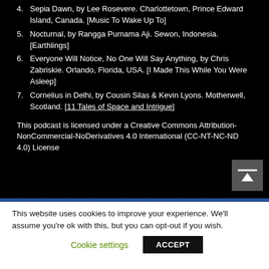4. Sepia Dawn, by Lee Rosevere. Charlottetown, Prince Edward Island, Canada. [Music To Wake Up To]
5. Nocturnal, by Rangga Purnama Aji. Sewon, Indonesia. [Earthlings]
6. Everyone Will Notice, No One Will Say Anything, by Chris Zabriskie. Orlando, Florida, USA. [I Made This While You Were Asleep]
7. Cornelius in Delhi, by Cousin Silas & Kevin Lyons. Motherwell, Scotland. [11 Tales of Space and Intrigue]
This podcast is licensed under a Creative Commons Attribution-NonCommercial-NoDerivatives 4.0 International (CC-NT-NC-ND 4.0) License
This website uses cookies to improve your experience. We'll assume you're ok with this, but you can opt-out if you wish.
Cookie settings   ACCEPT